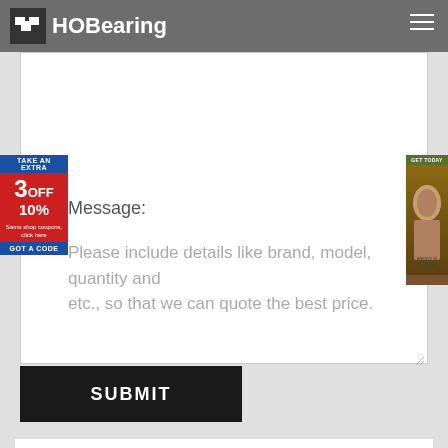HOBearing
Message:
Please include details like brand, model, quantity and etc., so that we can quote the best price.
SUBMIT
KOYO SC070821DVSH2NA
Timken T113W
KOYO 1322